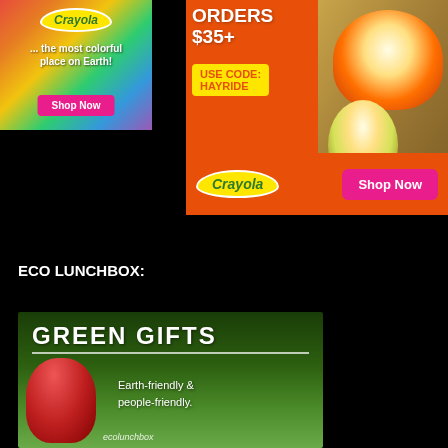[Figure (illustration): Crayola ad - colorful rainbow background with Crayola logo, text '... the most colorful place on Earth!' and 'Shop Now' button]
[Figure (illustration): Crayola ad - orange background with text 'ORDERS $35+', 'USE CODE: HAYRIDE', Crayola logo, pumpkins, crayon, and pink 'Shop Now' button]
ECO LUNCHBOX:
[Figure (illustration): Eco Lunchbox Green Gifts ad - dark green background with text 'GREEN GIFTS', 'Earth-friendly & people-friendly.', red fabric bag and stacked lunch containers]